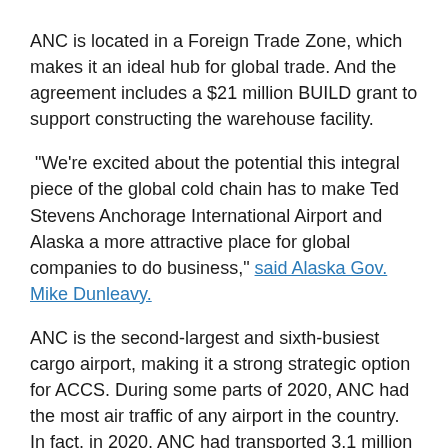ANC is located in a Foreign Trade Zone, which makes it an ideal hub for global trade. And the agreement includes a $21 million BUILD grant to support constructing the warehouse facility.
“We’re excited about the potential this integral piece of the global cold chain has to make Ted Stevens Anchorage International Airport and Alaska a more attractive place for global companies to do business,” said Alaska Gov. Mike Dunleavy.
ANC is the second-largest and sixth-busiest cargo airport, making it a strong strategic option for ACCS. During some parts of 2020, ANC had the most air traffic of any airport in the country. In fact, in 2020, ANC had transported 3.1 million metric tons of cargo. That’s a 16 percent increase over 2019. Demand for transporting cargo through ANC grew throughout 2020. The airport started the year as the 38th busiest airport in the country and finished the year as the 15th busiest airport in the country.
As a whole, the project will have a large impact on the Anchorage economy. It should allow for improved exporting of Alaska’s seafood and provide significant economic development.
“Cargo carriers and their industry partners are recognizing the advantages of operating at ANC. The signing of the ACCS lease cements